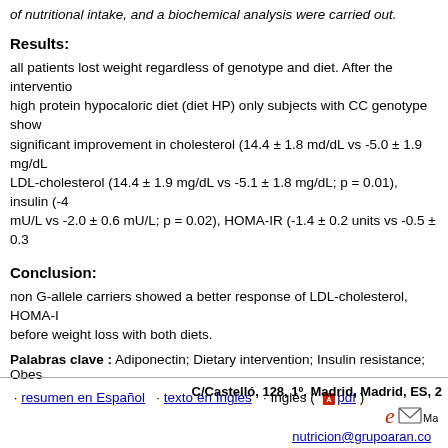of nutritional intake, and a biochemical analysis were carried out.
Results:
all patients lost weight regardless of genotype and diet. After the intervention, high protein hypocaloric diet (diet HP) only subjects with CC genotype showed significant improvement in cholesterol (14.4 ± 1.8 md/dL vs -5.0 ± 1.9 mg/dL), LDL-cholesterol (14.4 ± 1.9 mg/dL vs -5.1 ± 1.8 mg/dL; p = 0.01), insulin (-4 mU/L vs -2.0 ± 0.6 mU/L; p = 0.02), HOMA-IR (-1.4 ± 0.2 units vs -0.5 ± 0.3), 3.1 ± 1.1 ng/dL; p = 0.01) levels. After the second dietary strategy with a standard genotype showed significant improvement in total cholesterol (CC vs CG + ...) LDL-cholesterol (-12.3 ± 1.9 mg/dL vs -8.0 ± 1.2 mg/dL; p = 0.01), insulin (-4...) (-1.2 ± 0.1 units vs -0.6 ± 0.2 units; p = 0.02), and adiponectin (11.1 ± 2.7 ng...
Conclusion:
non G-allele carriers showed a better response of LDL-cholesterol, HOMA-IR before weight loss with both diets.
Palabras clave : Adiponectin; Dietary intervention; Insulin resistance; Obesity
· resumen en Español  · texto en Inglés  · Inglés ( pdf )
C/Castelló, 128, 1º, Madrid, Madrid, ES, | eMail | nutricion@grupoaran.com